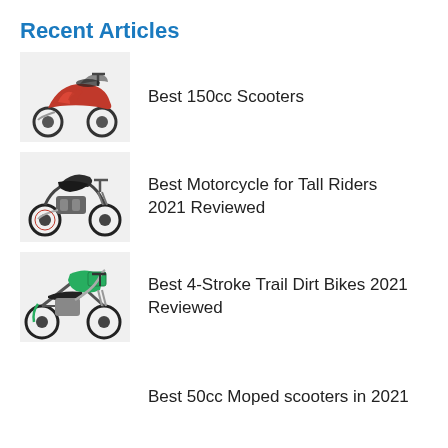Recent Articles
Best 150cc Scooters
Best Motorcycle for Tall Riders 2021 Reviewed
Best 4-Stroke Trail Dirt Bikes 2021 Reviewed
Best 50cc Moped scooters in 2021